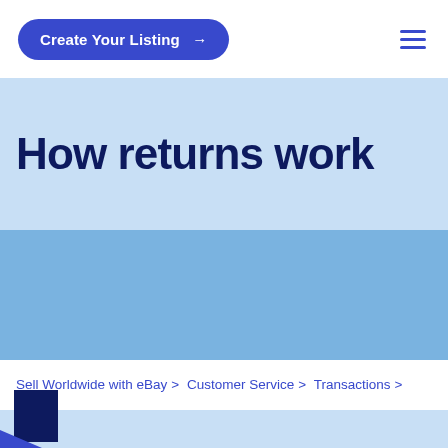Create Your Listing →
How returns work
Sell Worldwide with eBay > Customer Service > Transactions > How returns work